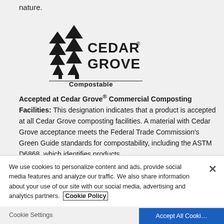nature.
[Figure (logo): Cedar Grove Compostable logo — two evergreen trees with text 'CEDAR GROVE' and 'Compostable' below]
Accepted at Cedar Grove® Commercial Composting Facilities: This designation indicates that a product is accepted at all Cedar Grove composting facilities. A material with Cedar Grove acceptance meets the Federal Trade Commission's Green Guide standards for compostability, including the ASTM D6868, which identifies products
We use cookies to personalize content and ads, provide social media features and analyze our traffic. We also share information about your use of our site with our social media, advertising and analytics partners. Cookie Policy
Cookie Settings
Accept All Cookies